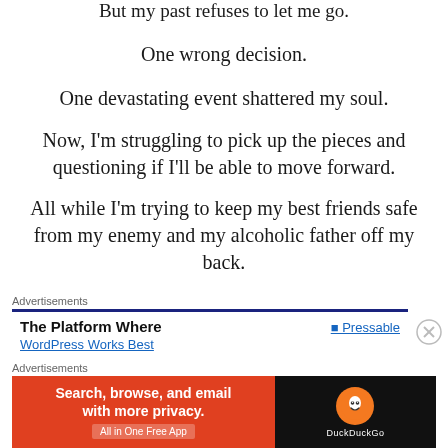But my past refuses to let me go.
One wrong decision.
One devastating event shattered my soul.
Now, I'm struggling to pick up the pieces and questioning if I'll be able to move forward.
All while I'm trying to keep my best friends safe from my enemy and my alcoholic father off my back.
Advertisements
[Figure (screenshot): Advertisement banner: The Platform Where WordPress Works Best - Pressable]
Advertisements
[Figure (screenshot): DuckDuckGo advertisement banner: Search, browse, and email with more privacy. All in One Free App]